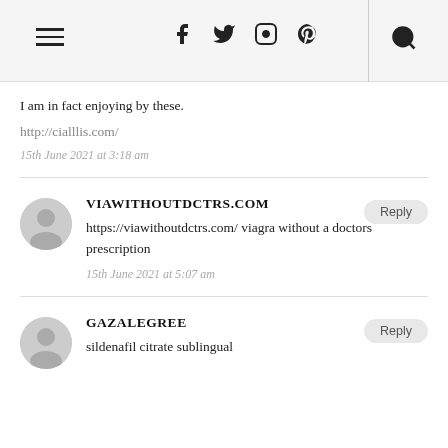Navigation bar with hamburger menu, social icons (facebook, twitter, instagram, pinterest), and search icon
I am in fact enjoying by these.
http://cialllis.com/
15th June 2021 at 3:18 am
VIAWITHOUTDCTRS.COM
https://viawithoutdctrs.com/ viagra without a doctors prescription
15th June 2021 at 5:07 am
GAZALEGREE
sildenafil citrate sublingual